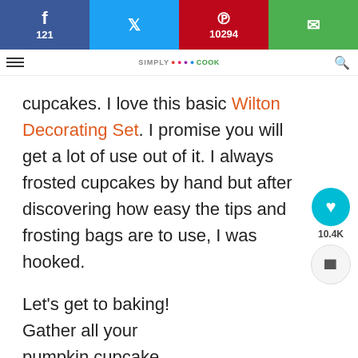Social share bar: Facebook 121, Twitter, Pinterest 10294, Email
Navigation bar with logo and search
cupcakes. I love this basic Wilton Decorating Set. I promise you will get a lot of use out of it. I always frosted cupcakes by hand but after discovering how easy the tips and frosting bags are to use, I was hooked.
Let's get to baking! Gather all your pumpkin cupcake ingredients and everything on the counter in one spot.